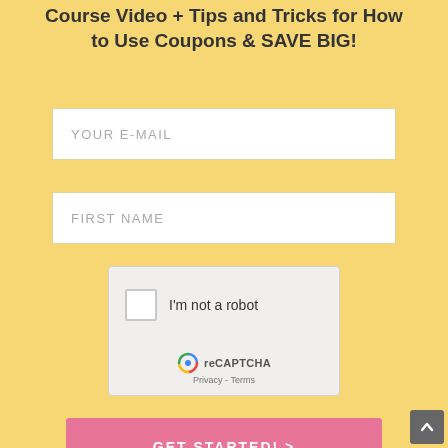Course Video + Tips and Tricks for How to Use Coupons & SAVE BIG!
[Figure (screenshot): Email input field with placeholder text YOUR E-MAIL]
[Figure (screenshot): First name input field with placeholder text FIRST NAME]
[Figure (screenshot): reCAPTCHA widget with checkbox labeled I'm not a robot, reCAPTCHA logo, Privacy and Terms links]
[Figure (screenshot): Pink submit button labeled GET STARTED! >]